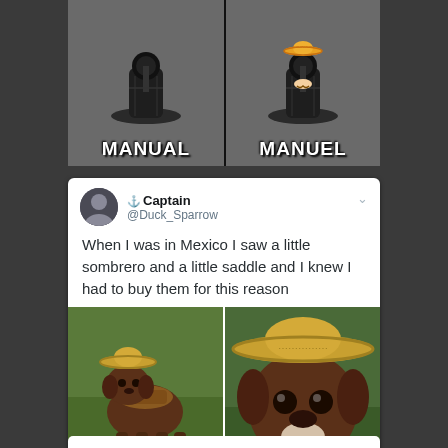[Figure (photo): Two-panel meme showing a car gear shift. Left panel labeled 'MANUAL' shows a normal gear shift. Right panel labeled 'MANUEL' shows the same gear shift wearing a tiny sombrero emoji.]
[Figure (screenshot): Twitter screenshot from user @Duck_Sparrow (Captain) with anchor icon. Text reads: 'When I was in Mexico I saw a little sombrero and a little saddle and I knew I had to buy them for this reason'. Below the text are two photos of a chihuahua wearing a small sombrero and a tiny saddle.]
[Figure (photo): Partial view of another meme card at the bottom of the page, mostly cut off.]